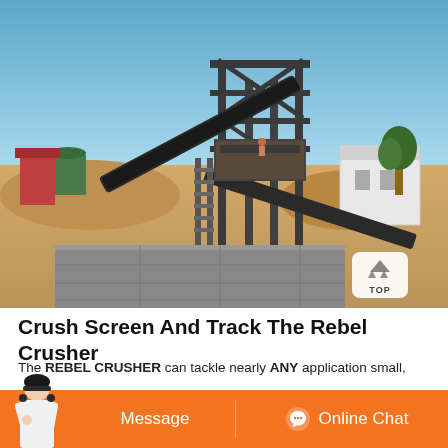[Figure (photo): Industrial crushing and screening plant with conveyor belts, steel frame structure, and construction site with sandy ground and blue sky background. A 'TOP' navigation button overlay appears in the bottom-right of the image.]
Crush Screen And Track The Rebel Crusher
The REBEL CRUSHER can tackle nearly ANY application small,
Message   Online Chat